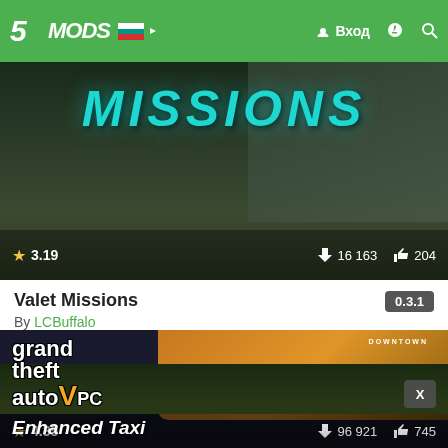5MODS | Вход
[Figure (screenshot): Valet Missions mod thumbnail showing 'MISSIONS' text in teal over a dark scene with characters. Rating: 3.19 stars, 16163 downloads, 204 likes.]
Valet Missions
0.3.1
By LCBuffalo
[Figure (screenshot): Enhanced Taxi mod thumbnail showing GTA V PC logo with a taxi cab and city bus in background. Rating: 4.35 stars, 96921 downloads, 745 likes.]
Enhanced Taxi